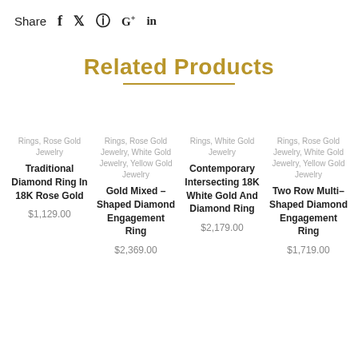Share  f  ✓  ⊕  G+  in
Related Products
Rings, Rose Gold Jewelry
Traditional Diamond Ring In 18K Rose Gold
$1,129.00
Rings, Rose Gold Jewelry, White Gold Jewelry, Yellow Gold Jewelry
Gold Mixed – Shaped Diamond Engagement Ring
$2,369.00
Rings, White Gold Jewelry
Contemporary Intersecting 18K White Gold And Diamond Ring
$2,179.00
Rings, Rose Gold Jewelry, White Gold Jewelry, Yellow Gold Jewelry
Two Row Multi–Shaped Diamond Engagement Ring
$1,719.00